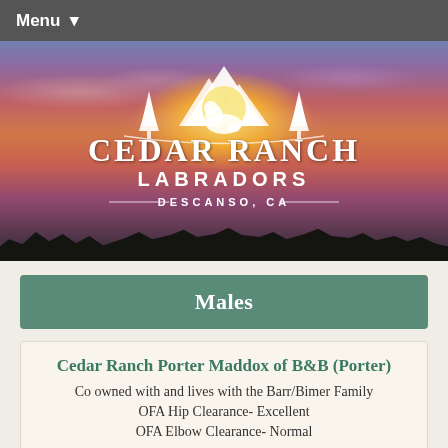Menu
[Figure (logo): Cedar Ranch Labradors logo with mountains, trees, and a Labrador silhouette over a sunset sky background. Text reads: CEDAR RANCH LABRADORS — DESCANSO, CA —]
Males
Cedar Ranch Porter Maddox of B&B (Porter)
Co owned with and lives with the Barr/Bimer Family
OFA Hip Clearance- Excellent
OFA Elbow Clearance- Normal